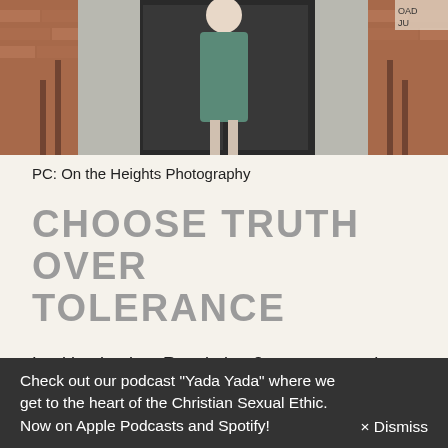[Figure (photo): A woman in a teal/green dress standing in front of a dark door, with brick walls and stairs visible on either side.]
PC: On the Heights Photography
CHOOSE TRUTH OVER TOLERANCE
Looking back at Revelation 2, we can see that God demonstrated His justice in the way He dealt with sin.
Check out our podcast "Yada Yada" where we get to the heart of the Christian Sexual Ethic. Now on Apple Podcasts and Spotify!
× Dismiss